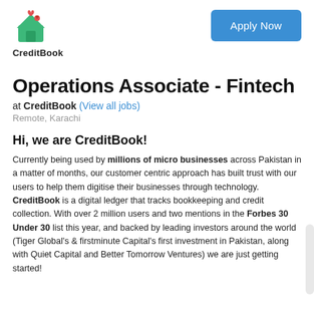[Figure (logo): CreditBook logo with green house icon and red heart, text CreditBook below]
Apply Now
Operations Associate - Fintech
at CreditBook (View all jobs)
Remote, Karachi
Hi, we are CreditBook!
Currently being used by millions of micro businesses across Pakistan in a matter of months, our customer centric approach has built trust with our users to help them digitise their businesses through technology. CreditBook is a digital ledger that tracks bookkeeping and credit collection. With over 2 million users and two mentions in the Forbes 30 Under 30 list this year, and backed by leading investors around the world (Tiger Global's & firstminute Capital's first investment in Pakistan, along with Quiet Capital and Better Tomorrow Ventures) we are just getting started!